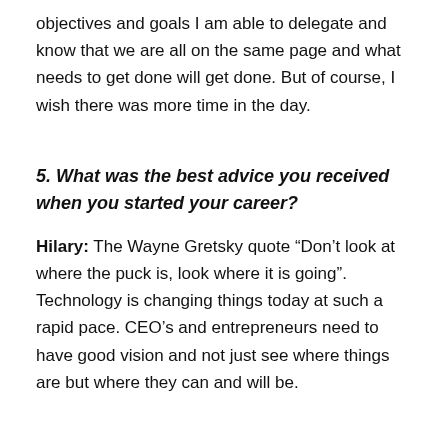objectives and goals I am able to delegate and know that we are all on the same page and what needs to get done will get done. But of course, I wish there was more time in the day.
5. What was the best advice you received when you started your career?
Hilary: The Wayne Gretsky quote “Don’t look at where the puck is, look where it is going”. Technology is changing things today at such a rapid pace. CEO’s and entrepreneurs need to have good vision and not just see where things are but where they can and will be.